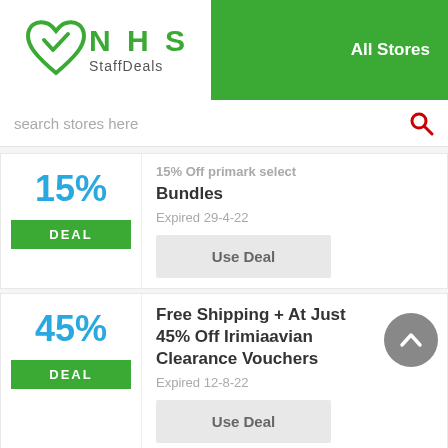[Figure (logo): NHS StaffDeals logo with green heart/checkmark icon and green text]
All Stores
search stores here
15% off Primark Select Bundles
Expired 29-4-22
Use Deal
Free Shipping + At Just 45% Off Irimiaavian Clearance Vouchers
Expired 12-8-22
Use Deal